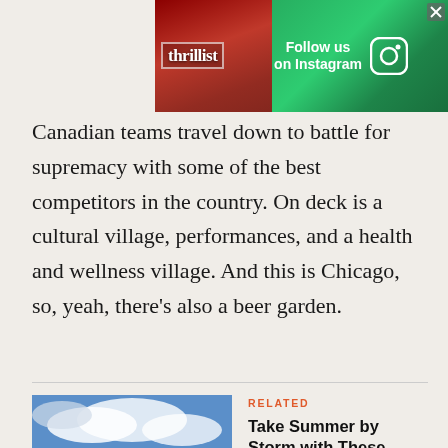[Figure (screenshot): Thrillist advertisement banner with food background and 'Follow us on Instagram' text with Instagram icon]
Canadian teams travel down to battle for supremacy with some of the best competitors in the country. On deck is a cultural village, performances, and a health and wellness village. And this is Chicago, so, yeah, there's also a beer garden.
RELATED
[Figure (photo): Green hillside landscape with dramatic clouds and a scenic valley view]
Take Summer by Storm with These June Travel Ideas
Make the most out of all those extra hours of sunshine.
ADVERTISEMENT